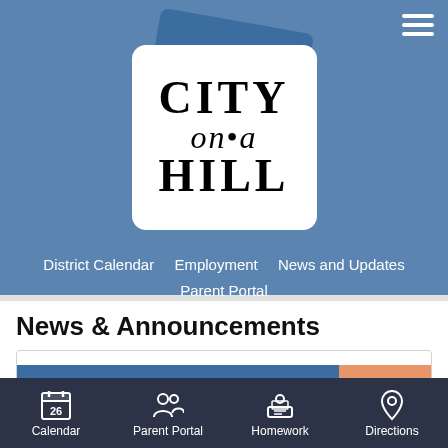[Figure (logo): City on a Hill school logo — white rounded square with blue diamond shape behind it, text CITY on•a HILL in serif font]
District Calendar   Employment   News and Updates   Parent Portal
News & Announcements
[Figure (screenshot): Partial article preview image showing blue and orange horizontal bars]
Calendar   Parent Portal   Homework   Directions